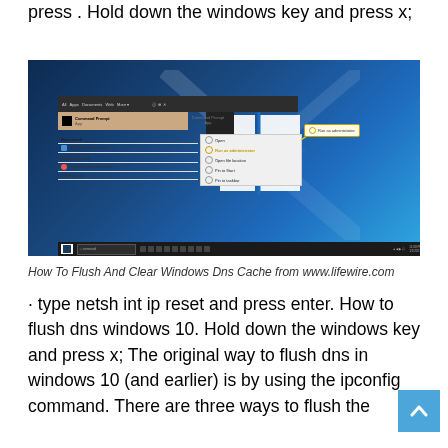press . Hold down the windows key and press x;
[Figure (screenshot): Screenshot of Windows 10 desktop showing the Start menu open with Command Prompt highlighted, a context menu visible with 'Run as administrator' option highlighted, and a tooltip box showing 'Run as administrator'.]
How To Flush And Clear Windows Dns Cache from www.lifewire.com
· type netsh int ip reset and press enter. How to flush dns windows 10. Hold down the windows key and press x; The original way to flush dns in windows 10 (and earlier) is by using the ipconfig command. There are three ways to flush the